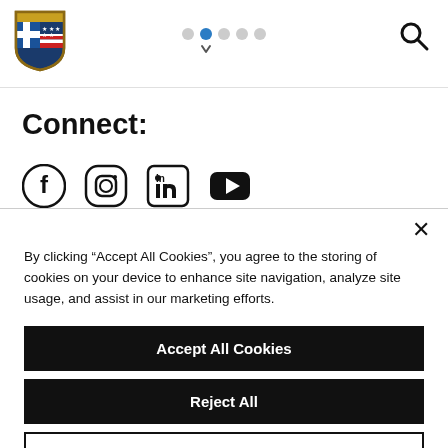[Figure (logo): Government shield logo with Greek flag and American stars and stripes]
[Figure (infographic): Navigation dots: 5 dots in a row, second one active (blue), with a chevron/arrow pointing down below second dot]
[Figure (infographic): Search magnifying glass icon in top right corner]
Connect:
[Figure (infographic): Social media icons: Facebook, Instagram, LinkedIn, YouTube]
By clicking “Accept All Cookies”, you agree to the storing of cookies on your device to enhance site navigation, analyze site usage, and assist in our marketing efforts.
Accept All Cookies
Reject All
Cookies Settings